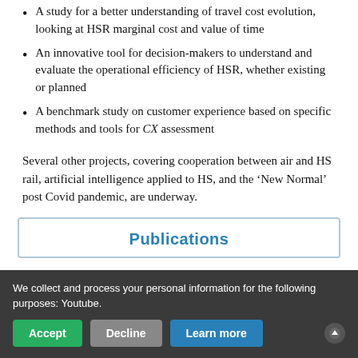A study for a better understanding of travel cost evolution, looking at HSR marginal cost and value of time
An innovative tool for decision-makers to understand and evaluate the operational efficiency of HSR, whether existing or planned
A benchmark study on customer experience based on specific methods and tools for CX assessment
Several other projects, covering cooperation between air and HS rail, artificial intelligence applied to HS, and the ‘New Normal’ post Covid pandemic, are underway.
Publications
We collect and process your personal information for the following purposes: Youtube.